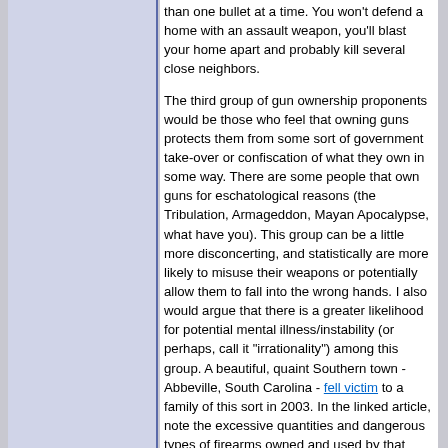than one bullet at a time. You won't defend a home with an assault weapon, you'll blast your home apart and probably kill several close neighbors.
The third group of gun ownership proponents would be those who feel that owning guns protects them from some sort of government take-over or confiscation of what they own in some way. There are some people that own guns for eschatological reasons (the Tribulation, Armageddon, Mayan Apocalypse, what have you). This group can be a little more disconcerting, and statistically are more likely to misuse their weapons or potentially allow them to fall into the wrong hands. I also would argue that there is a greater likelihood for potential mental illness/instability (or perhaps, call it "irrationality") among this group. A beautiful, quaint Southern town - Abbeville, South Carolina - fell victim to a family of this sort in 2003. In the linked article, note the excessive quantities and dangerous types of firearms owned and used by that family. Definite warning signs would be those that fancy themselves as members of a "militia", "uprising", or similar group; those that frequently have Dale Gribble-